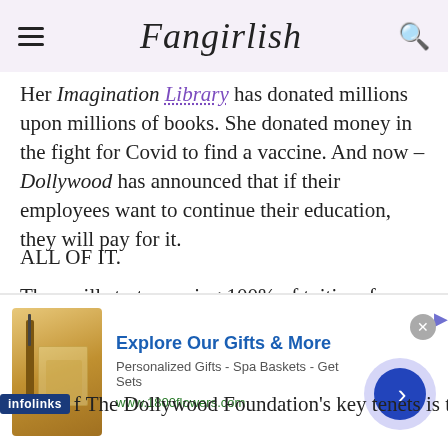Fangirlish
Her Imagination Library has donated millions upon millions of books. She donated money in the fight for Covid to find a vaccine. And now – Dollywood has announced that if their employees want to continue their education, they will pay for it.
ALL OF IT.
They will start covering 100% of tuition, fees, and books for any of their employees who are pursuing a higher education.
of The Dollywood Foundation's key tenets is to
[Figure (screenshot): Advertisement banner from 1800flowers.com showing gift products with text 'Explore Our Gifts & More', 'Personalized Gifts - Spa Baskets - Get Sets', 'www.1800flowers.com']